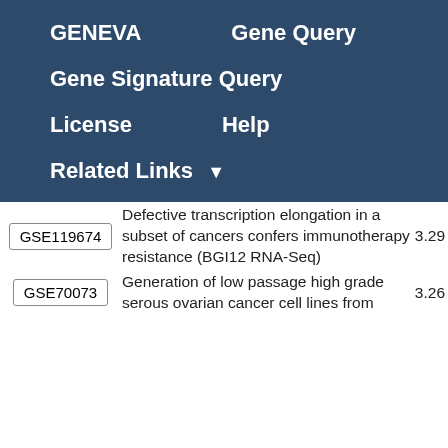GENEVA   Gene Query
Gene Signature Query
License   Help
Related Links ▼
|  | Description | Score |
| --- | --- | --- |
| GSE119674 | Defective transcription elongation in a subset of cancers confers immunotherapy resistance (BGI12 RNA-Seq) | 3.29 |
| GSE70073 | Generation of low passage high grade serous ovarian cancer cell lines from | 3.26 |